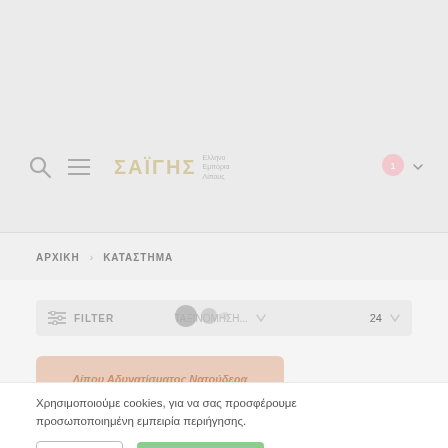ΚΑΤΑΛΟΓΟΣ ΧΟΝΔΡΙΚΗΣ
[Figure (logo): Website logo with Greek letters and tagline, navigation icons including search and hamburger menu, and cart icon]
ΑΡΧΙΚΗ > ΚΑΤΑΣΤΗΜΑ
FILTER   ΤΑΞΙΝΟΜΗΣΗ...   24
[Figure (other): Loading animation dots (large, medium, small circles)]
Λίπου Αδυνατίσματος Νατούδερα
Χρησιμοποιούμε cookies, για να σας προσφέρουμε προσωποποιημένη εμπειρία περιήγησης.
Επιλογές
Αποδοχή Όλων